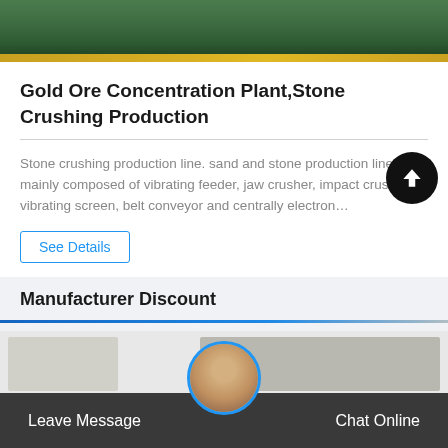[Figure (photo): Top portion of an industrial facility floor with green surface and yellow stripe at bottom]
Gold Ore Concentration Plant,Stone Crushing Production
Stone crushing production line. sand and stone production line is mainly composed of vibrating feeder, jaw crusher, impact crusher, vibrating screen, belt conveyor and centrally electron…
See Details
Manufacturer Discount
[Figure (photo): Bottom image strip showing industrial or manufacturing scene with a customer service representative avatar overlaid]
Leave Message
Chat Online